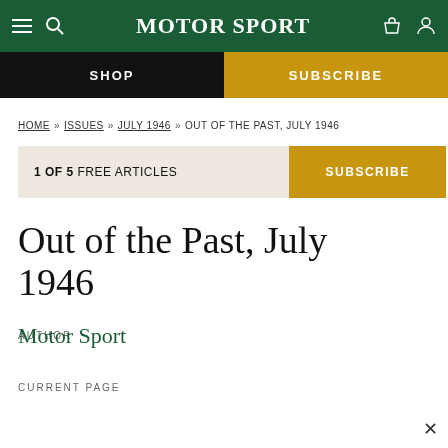Motor Sport
SHOP | SUBSCRIBE
HOME » ISSUES » JULY 1946 » OUT OF THE PAST, JULY 1946
1 OF 5 FREE ARTICLES | SUBSCRIBE
Out of the Past, July 1946
AUTHOR
Motor Sport
CURRENT PAGE